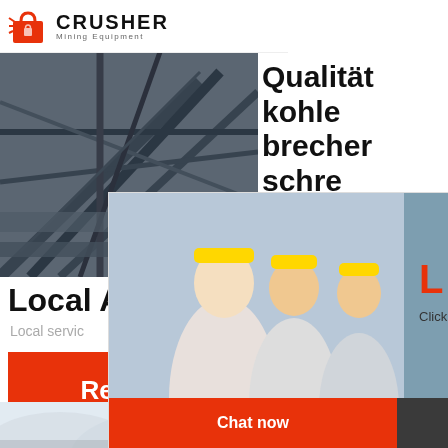[Figure (logo): Crusher Mining Equipment logo with red shopping bag icon and bold black CRUSHER text]
[Figure (photo): Industrial mining conveyor/crusher machinery, steel frame structures, dark industrial setting]
Qualität kohle brecher schre
24Hrs Online
Local A
Local servic
Read More
[Figure (photo): Misty mountain landscape, foggy hills, construction equipment at bottom]
Coal g mini sand
Need questions & suggestion?
Chat Now
Enquiry
limingjlmofen@sina.com
[Figure (screenshot): Live Chat popup overlay with workers in hard hats, LIVE CHAT title in red, Click for a Free Consultation, Chat now and Chat later buttons, female customer service rep on right]